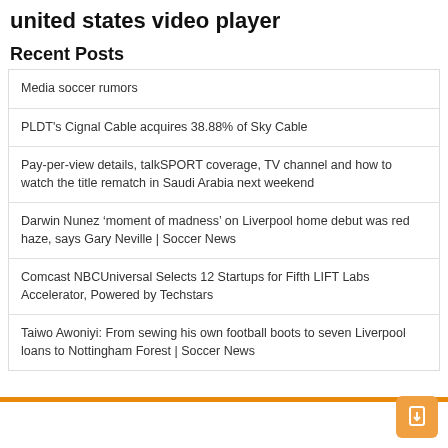united states video player
Recent Posts
Media soccer rumors
PLDT's Cignal Cable acquires 38.88% of Sky Cable
Pay-per-view details, talkSPORT coverage, TV channel and how to watch the title rematch in Saudi Arabia next weekend
Darwin Nunez ‘moment of madness’ on Liverpool home debut was red haze, says Gary Neville | Soccer News
Comcast NBCUniversal Selects 12 Startups for Fifth LIFT Labs Accelerator, Powered by Techstars
Taiwo Awoniyi: From sewing his own football boots to seven Liverpool loans to Nottingham Forest | Soccer News